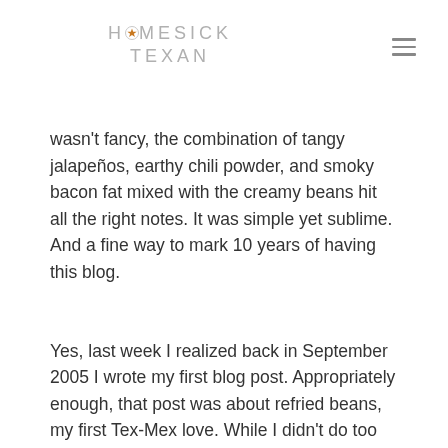HOMESICK TEXAN
wasn't fancy, the combination of tangy jalapeños, earthy chili powder, and smoky bacon fat mixed with the creamy beans hit all the right notes. It was simple yet sublime. And a fine way to mark 10 years of having this blog.
Yes, last week I realized back in September 2005 I wrote my first blog post. Appropriately enough, that post was about refried beans, my first Tex-Mex love. While I didn't do too